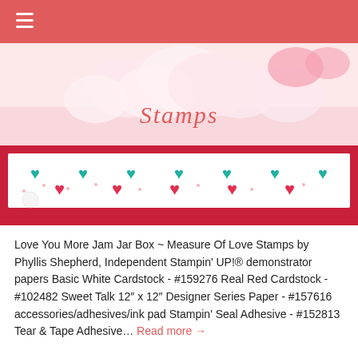≡
[Figure (photo): Photo of a jam jar box decorated with pink and teal heart patterned paper, with white marshmallows visible at top, and 'Stamps' text overlay in coral/salmon italic font on a coral header bar.]
Love You More Jam Jar Box ~ Measure Of Love Stamps by Phyllis Shepherd, Independent Stampin' UP!® demonstrator papers Basic White Cardstock - #159276 Real Red Cardstock - #102482 Sweet Talk 12″ x 12″ Designer Series Paper - #157616 accessories/adhesives/ink pad Stampin' Seal Adhesive - #152813 Tear & Tape Adhesive... Read more →